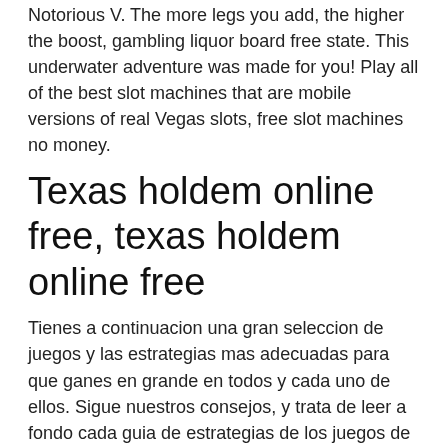Notorious V. The more legs you add, the higher the boost, gambling liquor board free state. This underwater adventure was made for you! Play all of the best slot machines that are mobile versions of real Vegas slots, free slot machines no money.
Texas holdem online free, texas holdem online free
Tienes a continuacion una gran seleccion de juegos y las estrategias mas adecuadas para que ganes en grande en todos y cada uno de ellos. Sigue nuestros consejos, y trata de leer a fondo cada guia de estrategias de los juegos de los casinos online mas demandados Cuanto mas sepas, mas podras ganar!, free online no limit texas holdem play people. Juegos como blackjack, poker en varias variantes, ruleta, maquinas tragaperras, Potoon, entre otros muchos juegos que te haran disfrutar y ganar en